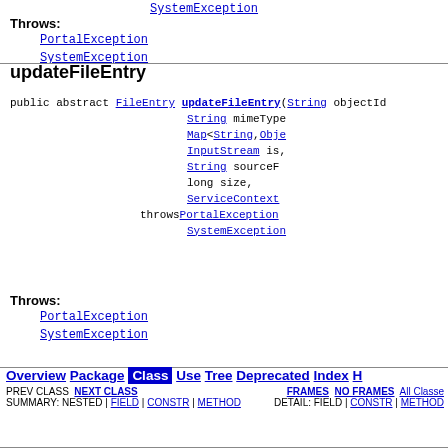SystemException (link, top, cut off)
Throws:
PortalException
SystemException
updateFileEntry
public abstract FileEntry updateFileEntry(String objectId, String mimeType, Map<String,Obje, InputStream is, String sourceF, long size, ServiceContext throws PortalException, SystemException
Throws:
PortalException
SystemException
Overview Package Class Use Tree Deprecated Index H
PREV CLASS NEXT CLASS   FRAMES NO FRAMES All Classe
SUMMARY: NESTED | FIELD | CONSTR | METHOD   DETAIL: FIELD | CONSTR | METHOD